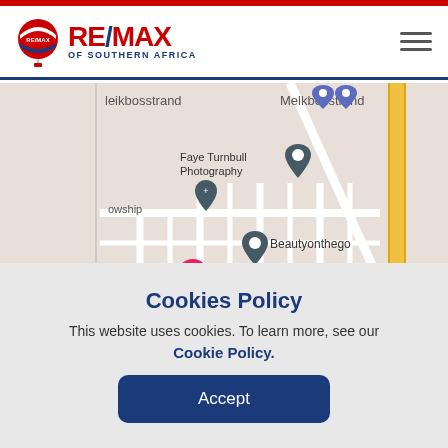RE/MAX OF SOUTHERN AFRICA
[Figure (map): Google Maps screenshot showing Melkbosstrand area with location pins for Faye Turnbull Photography, Beautyonthego, The Lodge at Atlantic Beach - Golf..., kfast, and Ou Meul Melkbosstrand. Road R27 visible on right side. Text 'Map data' in bottom right.]
Cookies Policy
This website uses cookies. To learn more, see our
Cookie Policy.
Accept